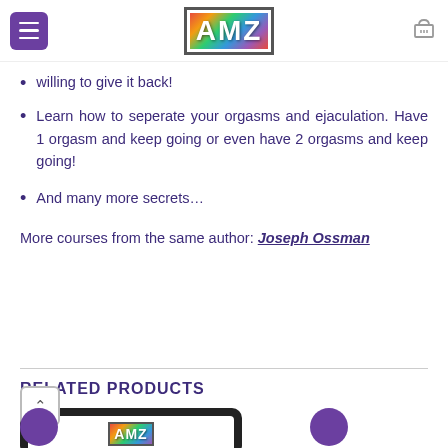AMZ
willing to give it back!
Learn how to seperate your orgasms and ejaculation. Have 1 orgasm and keep going or even have 2 orgasms and keep going!
And many more secrets…
More courses from the same author: Joseph Ossman
RELATED PRODUCTS